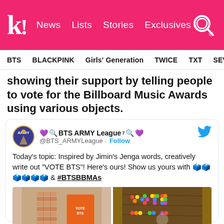k! News | Lists | Stories | Exclusives
BTS  BLACKPINK  Girls' Generation  TWICE  TXT  SEVE
showing their support by telling people to vote for the Billboard Music Awards using various objects.
[Figure (screenshot): Embedded tweet from @BTS_ARMYLeague showing BTS ARMY League account with tweet text: Today's topic: Inspired by Jimin's Jenga words, creatively write out "VOTE BTS"! Here's ours! Show us yours with hashtag and #BTSBBMAs, with two photos of creative VOTE BTS arrangements.]